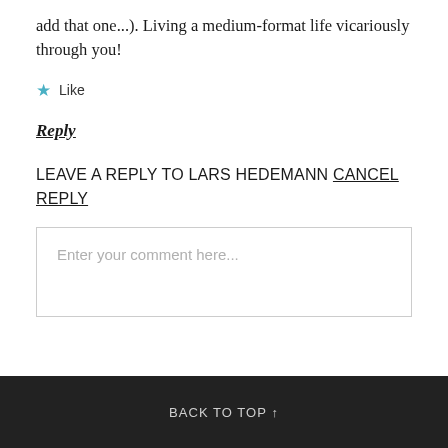add that one...). Living a medium-format life vicariously through you!
★  Like
Reply
LEAVE A REPLY TO LARS HEDEMANN CANCEL REPLY
Enter your comment here...
BACK TO TOP ↑